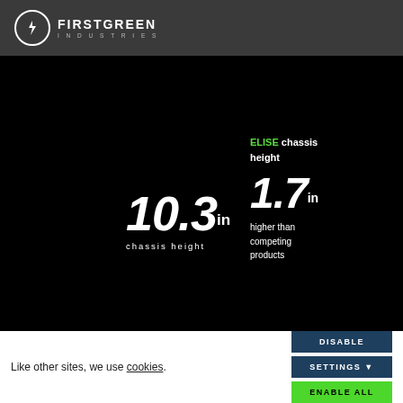[Figure (logo): FirstGreen Industries logo with circular F icon and company name]
[Figure (infographic): Black hero section showing chassis height stats: 10.3 in chassis height, and ELISE chassis height is 1.7 in higher than competing products]
Like other sites, we use cookies.
DISABLE
SETTINGS
ENABLE ALL